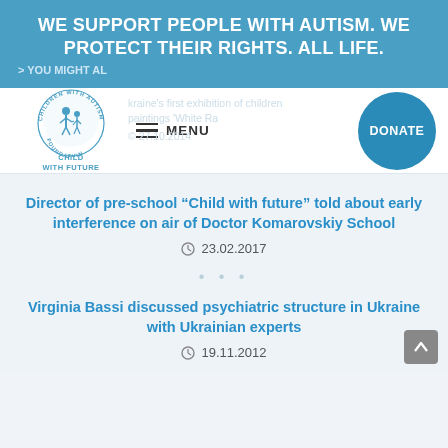WE SUPPORT PEOPLE WITH AUTISM. WE PROTECT THEIR RIGHTS. ALL LIFE.
> YOU MIGHT AL...
[Figure (logo): Children with Autism Support Foundation - Child with Future logo, circular badge with figure of child and adult]
MENU
DONATE
Ukraine's first exhibition of children's paintings 'White Raven' © 27.10.2014
Director of pre-school “Child with future” told about early interference on air of Doctor Komarovskiy School
23.02.2017
Virginia Bassi discussed psychiatric structure in Ukraine with Ukrainian experts
19.11.2012